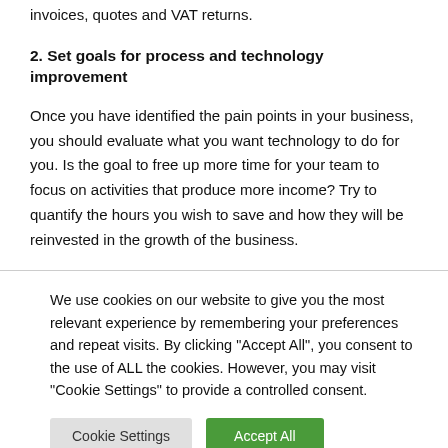invoices, quotes and VAT returns.
2. Set goals for process and technology improvement
Once you have identified the pain points in your business, you should evaluate what you want technology to do for you. Is the goal to free up more time for your team to focus on activities that produce more income? Try to quantify the hours you wish to save and how they will be reinvested in the growth of the business.
We use cookies on our website to give you the most relevant experience by remembering your preferences and repeat visits. By clicking "Accept All", you consent to the use of ALL the cookies. However, you may visit "Cookie Settings" to provide a controlled consent.